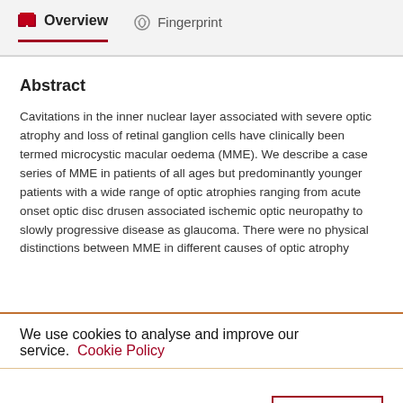Overview   Fingerprint
Abstract
Cavitations in the inner nuclear layer associated with severe optic atrophy and loss of retinal ganglion cells have clinically been termed microcystic macular oedema (MME). We describe a case series of MME in patients of all ages but predominantly younger patients with a wide range of optic atrophies ranging from acute onset optic disc drusen associated ischemic optic neuropathy to slowly progressive disease as glaucoma. There were no physical distinctions between MME in different causes of optic atrophy
We use cookies to analyse and improve our service. Cookie Policy